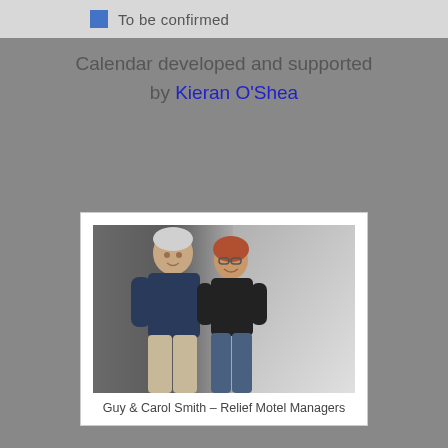To be confirmed
Calendar developed and supported by Kieran O'Shea
[Figure (photo): Photo of Guy and Carol Smith, a man in a navy polo shirt and a woman in a black top, standing together in a hallway.]
Guy & Carol Smith – Relief Motel Managers